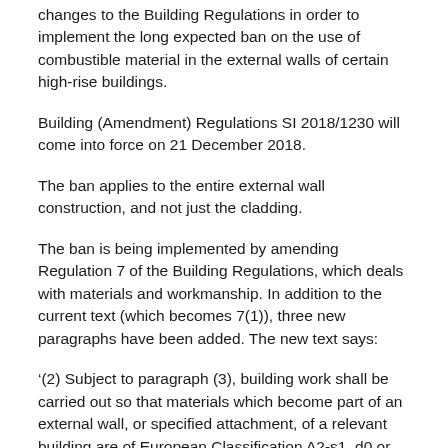changes to the Building Regulations in order to implement the long expected ban on the use of combustible material in the external walls of certain high-rise buildings.
Building (Amendment) Regulations SI 2018/1230 will come into force on 21 December 2018.
The ban applies to the entire external wall construction, and not just the cladding.
The ban is being implemented by amending Regulation 7 of the Building Regulations, which deals with materials and workmanship. In addition to the current text (which becomes 7(1)), three new paragraphs have been added. The new text says:
‘(2) Subject to paragraph (3), building work shall be carried out so that materials which become part of an external wall, or specified attachment, of a relevant building are of European Classification A2-s1, d0 or Class A1, classified in accordance with BS EN 13501-1:2007+A1:2009 entitled “Fire classification of construction products and building elements,